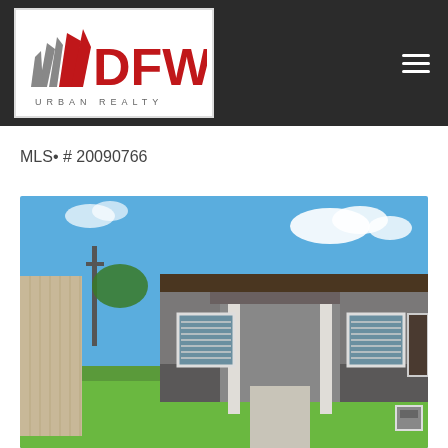[Figure (logo): DFW Urban Realty logo with abstract flag/pennant shapes in gray and red, with DFW in large bold red letters and URBAN REALTY in gray spaced capitals below]
MLS• # 20090766
[Figure (photo): Exterior photograph of a single-story residential home with gray and beige siding, covered porch with white columns, two windows with blinds, green lawn, and a tan vinyl privacy fence along the left side, under a blue sky with scattered clouds]